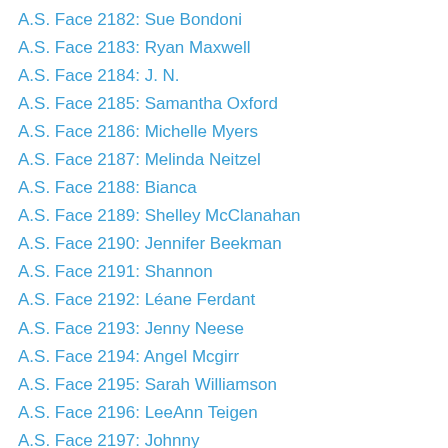A.S. Face 2182: Sue Bondoni
A.S. Face 2183: Ryan Maxwell
A.S. Face 2184: J. N.
A.S. Face 2185: Samantha Oxford
A.S. Face 2186: Michelle Myers
A.S. Face 2187: Melinda Neitzel
A.S. Face 2188: Bianca
A.S. Face 2189: Shelley McClanahan
A.S. Face 2190: Jennifer Beekman
A.S. Face 2191: Shannon
A.S. Face 2192: Léane Ferdant
A.S. Face 2193: Jenny Neese
A.S. Face 2194: Angel Mcgirr
A.S. Face 2195: Sarah Williamson
A.S. Face 2196: LeeAnn Teigen
A.S. Face 2197: Johnny
A.S. Face 2198: Gwendolyn Bahun
A.S. Face 2199: Raquel Barrett
A.S. Face 2200: Audie
A.S. Face 2201: Christi (Christina) James